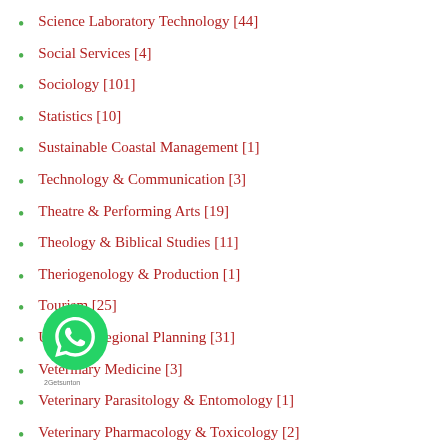Science Laboratory Technology [44]
Social Services [4]
Sociology [101]
Statistics [10]
Sustainable Coastal Management [1]
Technology & Communication [3]
Theatre & Performing Arts [19]
Theology & Biblical Studies [11]
Theriogenology & Production [1]
Tourism [25]
Urban & Regional Planning [31]
Veterinary Medicine [3]
Veterinary Parasitology & Entomology [1]
Veterinary Pharmacology & Toxicology [2]
Veterinary Physiology [2]
Veterinary Public Health & Preventive Medicine [5]